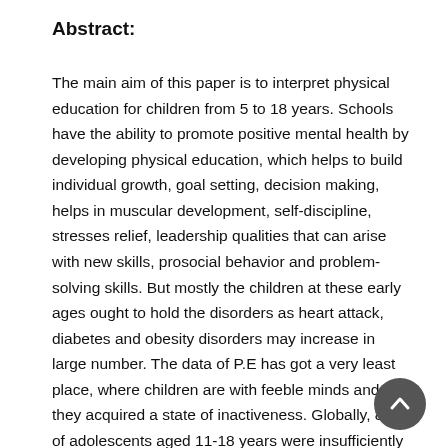Abstract:
The main aim of this paper is to interpret physical education for children from 5 to 18 years. Schools have the ability to promote positive mental health by developing physical education, which helps to build individual growth, goal setting, decision making, helps in muscular development, self-discipline, stresses relief, leadership qualities that can arise with new skills, prosocial behavior and problem-solving skills. But mostly the children at these early ages ought to hold the disorders as heart attack, diabetes and obesity disorders may increase in large number. The data of P.E has got a very least place, where children are with feeble minds and they acquired a state of inactiveness. Globally, 81% of adolescents aged 11-18 years were insufficiently physically active in the year 2016.